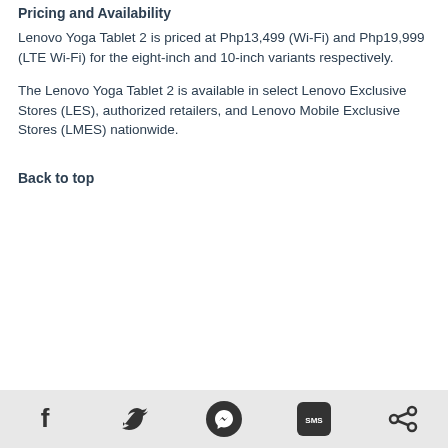Pricing and Availability
Lenovo Yoga Tablet 2 is priced at Php13,499 (Wi-Fi) and Php19,999 (LTE Wi-Fi) for the eight-inch and 10-inch variants respectively.
The Lenovo Yoga Tablet 2 is available in select Lenovo Exclusive Stores (LES), authorized retailers, and Lenovo Mobile Exclusive Stores (LMES) nationwide.
Back to top
Social share icons: Facebook, Twitter, Messenger, SMS, Share